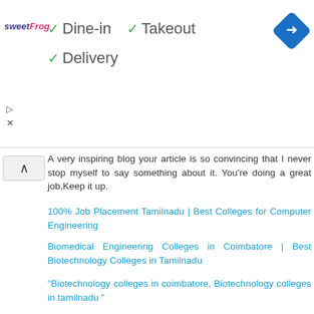[Figure (logo): sweetFrog logo in purple and pink italic text]
✓ Dine-in  ✓ Takeout
✓ Delivery
[Figure (illustration): Blue diamond navigation icon with right-turn arrow]
A very inspiring blog your article is so convincing that I never stop myself to say something about it. You're doing a great job,Keep it up.
100% Job Placement Tamilnadu | Best Colleges for Computer Engineering
Biomedical Engineering Colleges in Coimbatore | Best Biotechnology Colleges in Tamilnadu
"Biotechnology colleges in coimbatore, Biotechnology colleges in tamilnadu "
Biotechnology Courses in Coimbatore | Best MCA Colleges in Tamilnadu
Best MBA Colleges in Coimbatore | Engineering Courses in Tamilnadu
Engg Colleges in Coimbatore
Reply